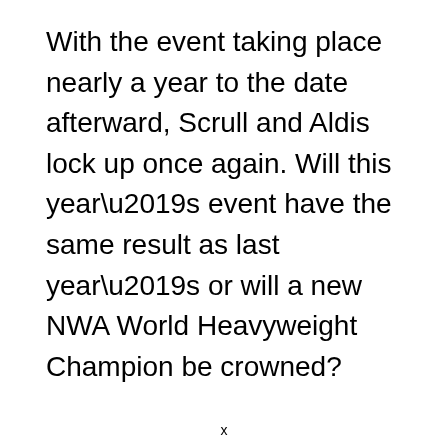With the event taking place nearly a year to the date afterward, Scrull and Aldis lock up once again. Will this year’s event have the same result as last year’s or will a new NWA World Heavyweight Champion be crowned?
x